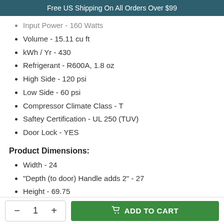Free US Shipping On All Orders Over $99
Input Power - 160 Watts
Volume - 15.11 cu ft
kWh / Yr - 430
Refrigerant - R600A, 1.8 oz
High Side - 120 psi
Low Side - 60 psi
Compressor Climate Class - T
Saftey Certification - UL 250 (TUV)
Door Lock - YES
Product Dimensions:
Width - 24
"Depth (to door) Handle adds 2" - 27
Height - 69.75
Weight - ...